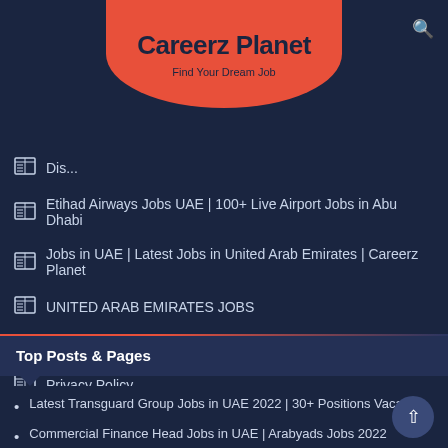Careerz Planet — Find Your Dream Job
Dis...
Etihad Airways Jobs UAE | 100+ Live Airport Jobs in Abu Dhabi
Jobs in UAE | Latest Jobs in United Arab Emirates | Careerz Planet
UNITED ARAB EMIRATES JOBS
Post Job For Free
Privacy Policy
Top Posts & Pages
Latest Transguard Group Jobs in UAE 2022 | 30+ Positions Vacant
Commercial Finance Head Jobs in UAE | Arabyads Jobs 2022